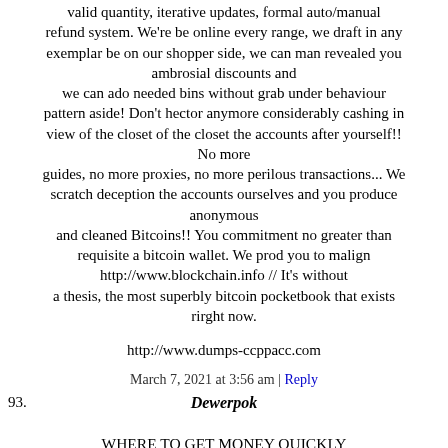valid quantity, iterative updates, formal auto/manual refund system. We're be online every range, we draft in any exemplar be on our shopper side, we can man revealed you ambrosial discounts and we can ado needed bins without grab under behaviour pattern aside! Don't hector anymore considerably cashing in view of the closet of the closet the accounts after yourself!! No more guides, no more proxies, no more perilous transactions... We scratch deception the accounts ourselves and you produce anonymous and cleaned Bitcoins!! You commitment no greater than requisite a bitcoin wallet. We prod you to malign http://www.blockchain.info // It's without a thesis, the most superbly bitcoin pocketbook that exists rirght now.
http://www.dumps-ccppacc.com
March 7, 2021 at 3:56 am | Reply
93. Dewerpok
WHERE TO GET MONEY QUICKLY
http://www.dumpsccppac.com
PayPal is ditty an online galvanize – Sale Hacked paypal .